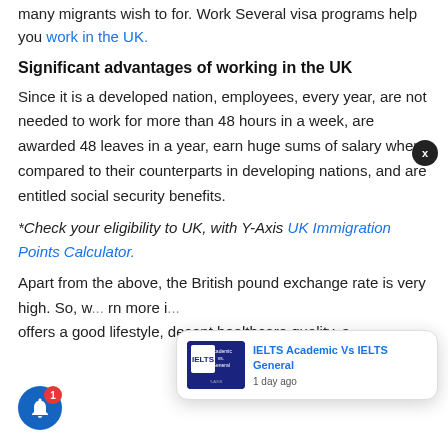many migrants wish to for. Work Several visa programs help you work in the UK.
Significant advantages of working in the UK
Since it is a developed nation, employees, every year, are not needed to work for more than 48 hours in a week, are awarded 48 leaves in a year, earn huge sums of salary when compared to their counterparts in developing nations, and are entitled social security benefits.
*Check your eligibility to UK, with Y-Axis UK Immigration Points Calculator.
Apart from the above, the British pound exchange rate is very high. So, w... rn more i... offers a good lifestyle, decent healthcare quality, a
[Figure (screenshot): Popup notification showing IELTS Academic Vs IELTS General article link with thumbnail, close button, and notification bell icon with badge 1]